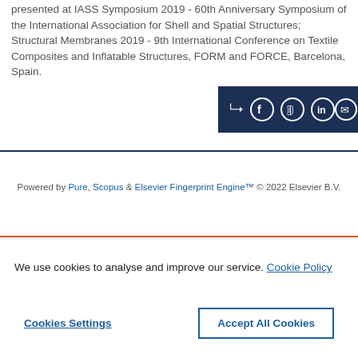presented at IASS Symposium 2019 - 60th Anniversary Symposium of the International Association for Shell and Spatial Structures; Structural Membranes 2019 - 9th International Conference on Textile Composites and Inflatable Structures, FORM and FORCE, Barcelona, Spain.
[Figure (other): Social share bar with icons for share, Facebook, Twitter, LinkedIn, and email on dark navy background]
Powered by Pure, Scopus & Elsevier Fingerprint Engine™ © 2022 Elsevier B.V.
We use cookies to analyse and improve our service. Cookie Policy
Cookies Settings
Accept All Cookies